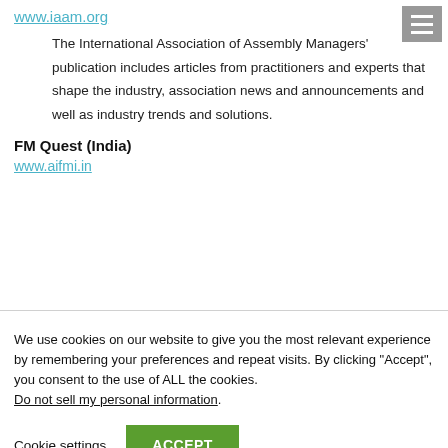www.iaam.org
The International Association of Assembly Managers' publication includes articles from practitioners and experts that shape the industry, association news and announcements and well as industry trends and solutions.
FM Quest (India)
www.aifmi.in
We use cookies on our website to give you the most relevant experience by remembering your preferences and repeat visits. By clicking “Accept”, you consent to the use of ALL the cookies.
Do not sell my personal information.
Cookie settings
ACCEPT